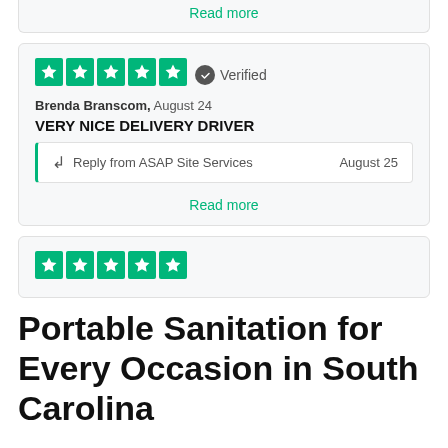Read more
[Figure (other): 5-star Trustpilot rating with Verified badge]
Brenda Branscom, August 24
VERY NICE DELIVERY DRIVER
Reply from ASAP Site Services    August 25
Read more
[Figure (other): 5-star Trustpilot rating]
Portable Sanitation for Every Occasion in South Carolina